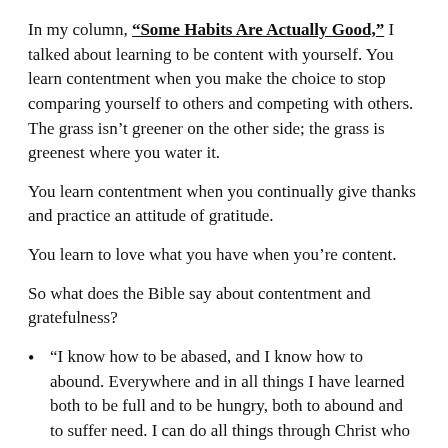In my column, “Some Habits Are Actually Good,” I talked about learning to be content with yourself. You learn contentment when you make the choice to stop comparing yourself to others and competing with others. The grass isn’t greener on the other side; the grass is greenest where you water it.
You learn contentment when you continually give thanks and practice an attitude of gratitude.
You learn to love what you have when you’re content.
So what does the Bible say about contentment and gratefulness?
“I know how to be abased, and I know how to abound. Everywhere and in all things I have learned both to be full and to be hungry, both to abound and to suffer need. I can do all things through Christ who strengthens me.” Philippians 4:12-13